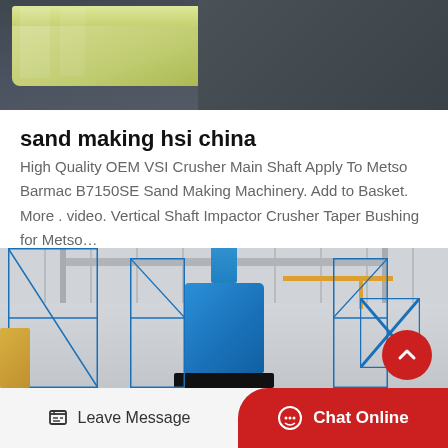[Figure (photo): Close-up photo of yellow/cream colored industrial trays or molds on a dark grey surface, viewed from above at an angle.]
sand making hsi china
High Quality OEM VSI Crusher Main Shaft Apply To Metso Barmac B7150SE Sand Making Machinery. Add to Basket. More . video. Vertical Shaft Impactor Crusher Taper Bushing for Metso…
[Figure (photo): Photo of a large blue industrial sand making or crushing machine inside a factory/warehouse, with blue metal scaffolding and railings around it. Factory interior with high ceiling and crane visible in background.]
Leave Message
Chat Online